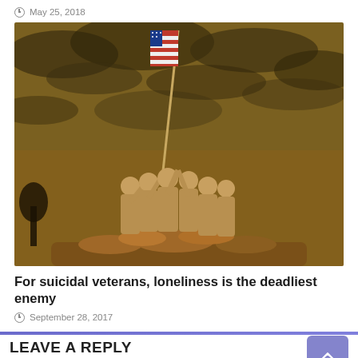May 25, 2018
[Figure (photo): Night photograph of the Iwo Jima Memorial (Marine Corps War Memorial) showing bronze soldiers raising the American flag on a rocky base against a dramatic cloudy sky lit with amber light.]
For suicidal veterans, loneliness is the deadliest enemy
September 28, 2017
LEAVE A REPLY